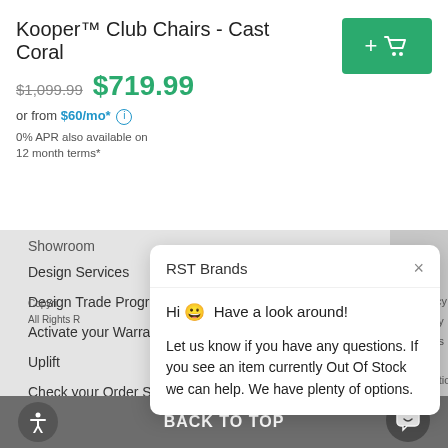Kooper™ Club Chairs - Cast Coral
$1,099.99  $719.99
or from $60/mo* ⓘ
0% APR also available on
12 month terms*
[Figure (screenshot): Green add-to-cart button with plus and cart icon]
Showroom
Design Services
Design Trade Program
Activate your Warranty
Uplift
Check your Order Status
[Figure (screenshot): Chat popup from RST Brands with greeting message: Hi 😀 Have a look around! Let us know if you have any questions. If you see an item currently Out Of Stock we can help. We have plenty of options.]
Reply to RST Brands...
Copyright
All Rights R
Privacy Policy
Terms & Conditions
BACK TO TOP